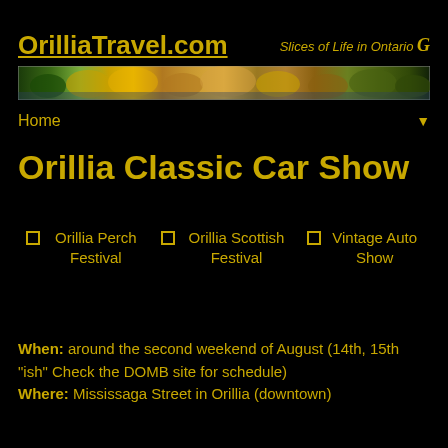OrilliaTravel.com — Slices of Life in Ontario
[Figure (photo): Panoramic autumn landscape banner photo showing trees with fall foliage along a waterfront]
Home
Orillia Classic Car Show
Orillia Perch Festival
Orillia Scottish Festival
Vintage Auto Show
When: around the second weekend of August (14th, 15th "ish" Check the DOMB site for schedule) Where: Mississaga Street in Orillia (downtown)